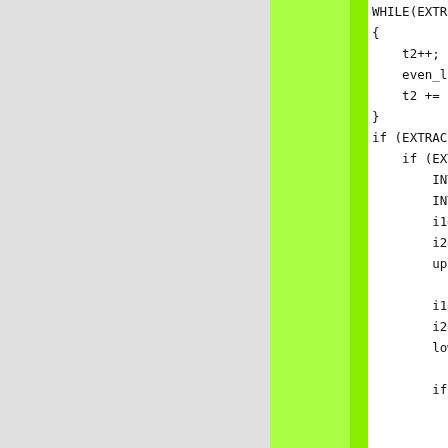[Figure (screenshot): Code editor screenshot showing C/C++ source code with three colored column regions: left gray, center bright green, right white with code text. The code shows a partial function with if/else blocks involving EXTRACT macros, INT32 declarations, variable assignments (i1, i2, upper_, lower_), and push_ function calls.]
WHILE(EXTR...
{
    t2++;
    even_lo
    t2 += ty
}
if (EXTRAC
    if (EXTR
        INT32
        INT32
        i1=ext
        i2=ext
        upper_

        i1=ext
        i2=ext
        lower_

        if (u
            push
            push
            push
            push
        }
    } else {
        push_u
        push_f
    }
}
}